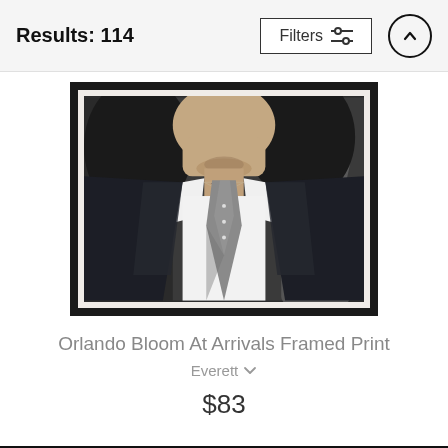Results: 114
Filters
[Figure (photo): A man wearing a dark navy suit with a white dress shirt and grey tie, with curly dark hair, photographed at a formal arrivals event.]
Orlando Bloom At Arrivals Framed Print
Everett
$83